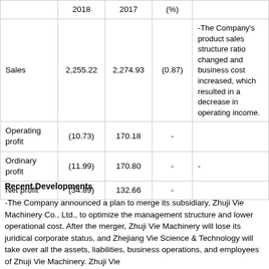|  | 2018 | 2017 | (%) |  |
| --- | --- | --- | --- | --- |
| Sales | 2,255.22 | 2,274.93 | (0.87) | -The Company's product sales structure ratio changed and business cost increased, which resulted in a decrease in operating income. |
| Operating profit | (10.73) | 170.18 | - |  |
| Ordinary profit | (11.99) | 170.80 | - | - |
| Net profit | (34.89) | 132.66 | - |  |
Recent Developments
-The Company announced a plan to merge its subsidiary, Zhuji Vie Machinery Co., Ltd., to optimize the management structure and lower operational cost. After the merger, Zhuji Vie Machinery will lose its juridical corporate status, and Zhejiang Vie Science & Technology will take over all the assets, liabilities, business operations, and employees of Zhuji Vie Machinery. Zhuji Vie